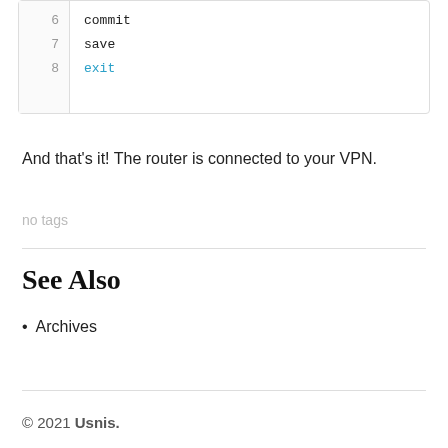[Figure (screenshot): Code block showing line numbers 6, 7, 8 with commands: commit, save, exit (exit highlighted in cyan)]
And that's it! The router is connected to your VPN.
no tags
See Also
Archives
© 2021 Usnis.